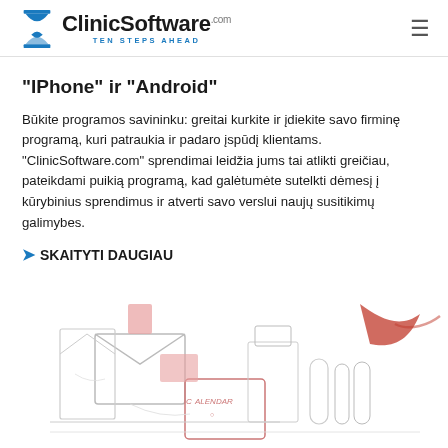ClinicSoftware.com — TEN STEPS AHEAD
"IPhone" ir "Android"
Būkite programos savininku: greitai kurkite ir įdiekite savo firminę programą, kuri patraukia ir padaro įspūdį klientams. "ClinicSoftware.com" sprendimai leidžia jums tai atlikti greičiau, pateikdami puikią programą, kad galėtumėte sutelkti dėmesį į kūrybinius sprendimus ir atverti savo verslui naujų susitikimų galimybes.
❯ SKAITYTI DAUGIAU
[Figure (illustration): Hand-drawn sketch illustration of a workspace with office items including envelopes, a calendar tablet, containers/tubes, and decorative elements in a loose ink and watercolor style.]